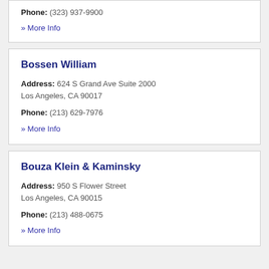Phone: (323) 937-9900
» More Info
Bossen William
Address: 624 S Grand Ave Suite 2000 Los Angeles, CA 90017
Phone: (213) 629-7976
» More Info
Bouza Klein & Kaminsky
Address: 950 S Flower Street Los Angeles, CA 90015
Phone: (213) 488-0675
» More Info